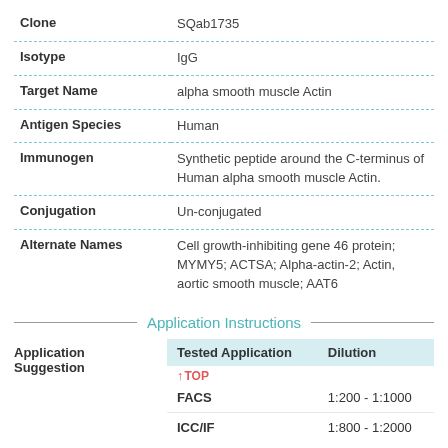| Field | Value |
| --- | --- |
| Clone | SQab1735 |
| Isotype | IgG |
| Target Name | alpha smooth muscle Actin |
| Antigen Species | Human |
| Immunogen | Synthetic peptide around the C-terminus of Human alpha smooth muscle Actin. |
| Conjugation | Un-conjugated |
| Alternate Names | Cell growth-inhibiting gene 46 protein; MYMY5; ACTSA; Alpha-actin-2; Actin, aortic smooth muscle; AAT6 |
Application Instructions
| Tested Application | Dilution |
| --- | --- |
| FACS | 1:200 - 1:1000 |
| ICC/IF | 1:800 - 1:2000 |